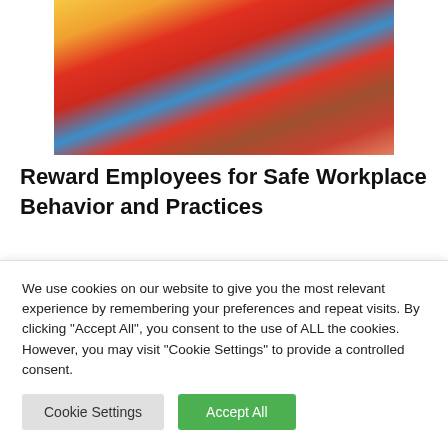[Figure (photo): Photo of people in safety/work gear including a yellow high-visibility vest and red clothing, partially cropped]
Reward Employees for Safe Workplace Behavior and Practices
Reinforce proactive workplace safety care with rewards. Plan quarterly safety luncheons where
We use cookies on our website to give you the most relevant experience by remembering your preferences and repeat visits. By clicking "Accept All", you consent to the use of ALL the cookies. However, you may visit "Cookie Settings" to provide a controlled consent.